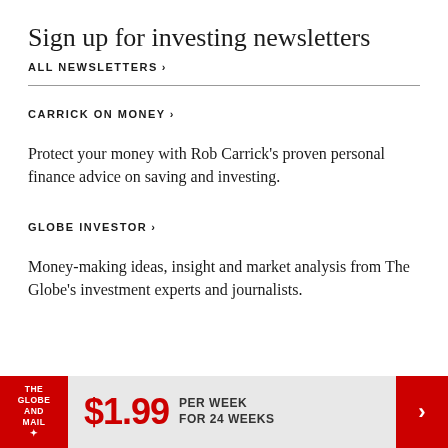Sign up for investing newsletters
ALL NEWSLETTERS >
CARRICK ON MONEY >
Protect your money with Rob Carrick’s proven personal finance advice on saving and investing.
GLOBE INVESTOR >
Money-making ideas, insight and market analysis from The Globe’s investment experts and journalists.
[Figure (other): The Globe and Mail subscription banner: logo on red background, $1.99 per week for 24 weeks, red arrow button]